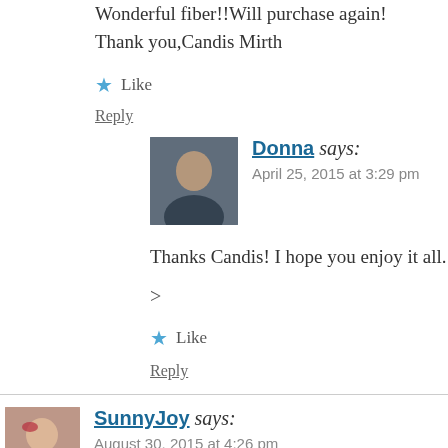Wonderful fiber!!Will purchase again! Thank you,Candis Mirth
★ Like
Reply
Donna says:
April 25, 2015 at 3:29 pm
Thanks Candis! I hope you enjoy it all.
>
★ Like
Reply
SunnyJoy says:
August 30, 2015 at 4:26 pm